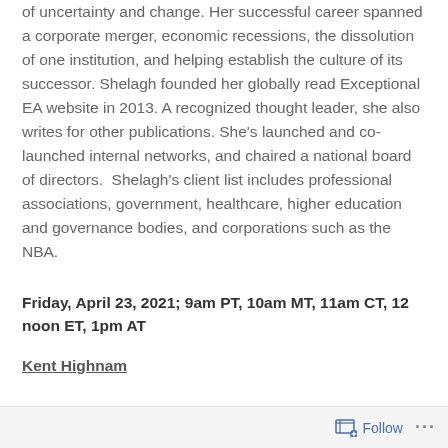of uncertainty and change. Her successful career spanned a corporate merger, economic recessions, the dissolution of one institution, and helping establish the culture of its successor. Shelagh founded her globally read Exceptional EA website in 2013. A recognized thought leader, she also writes for other publications. She's launched and co-launched internal networks, and chaired a national board of directors. Shelagh's client list includes professional associations, government, healthcare, higher education and governance bodies, and corporations such as the NBA.
Friday, April 23, 2021; 9am PT, 10am MT, 11am CT, 12 noon ET, 1pm AT
Kent Highnam